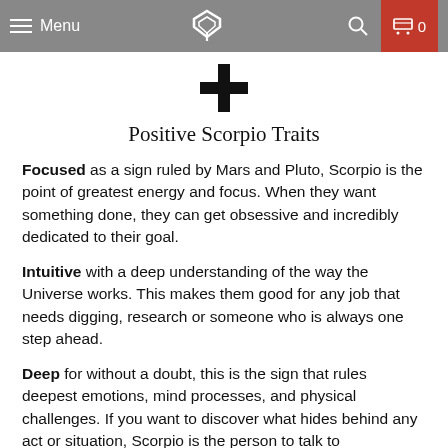Menu | [Logo] | [Search] | Cart 0
[Figure (illustration): Black plus/cross symbol centered on the page]
Positive Scorpio Traits
Focused as a sign ruled by Mars and Pluto, Scorpio is the point of greatest energy and focus. When they want something done, they can get obsessive and incredibly dedicated to their goal.
Intuitive with a deep understanding of the way the Universe works. This makes them good for any job that needs digging, research or someone who is always one step ahead.
Deep for without a doubt, this is the sign that rules deepest emotions, mind processes, and physical challenges. If you want to discover what hides behind any act or situation, Scorpio is the person to talk to.